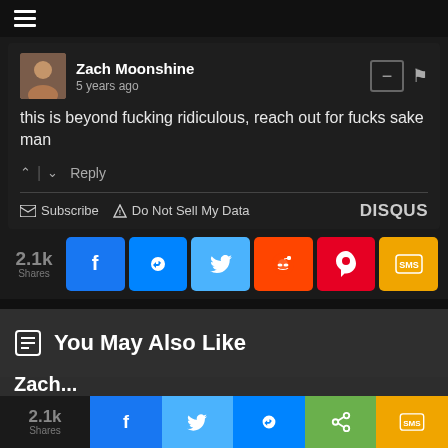[Figure (screenshot): Top navigation bar with hamburger menu icon on dark background]
Zach Moonshine
5 years ago
this is beyond fucking ridiculous, reach out for fucks sake man
↑ | ↓  Reply
✉ Subscribe  ▲ Do Not Sell My Data  DISQUS
[Figure (infographic): Social share buttons showing 2.1k Shares with Facebook, Messenger, Twitter, Reddit, Pinterest, and SMS buttons]
You May Also Like
Zach...
[Figure (infographic): Bottom sticky share bar with 2.1k Shares and Facebook, Twitter, Messenger, share, and SMS buttons]